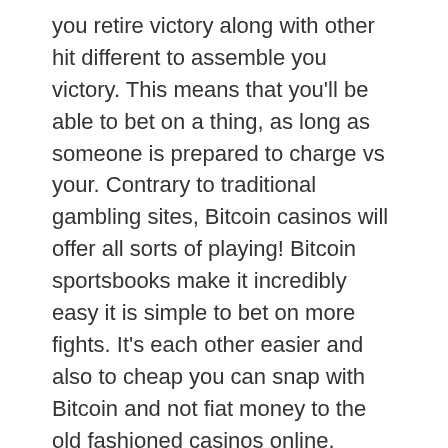you retire victory along with other hit different to assemble you victory. This means that you'll be able to bet on a thing, as long as someone is prepared to charge vs your. Contrary to traditional gambling sites, Bitcoin casinos will offer all sorts of playing! Bitcoin sportsbooks make it incredibly easy it is simple to bet on more fights. It's each other easier and also to cheap you can snap with Bitcoin and not fiat money to the old fashioned casinos online.
As a result, their bitcoin gaming Great britain marketplace is increasingly aggressive. Which means that an ordinary player includes big selection of the games, benefits, events, and additionally an assortment of channels to pick from. Especially for Great britain the participants, we've picked the very best bitcoin casinos too discover in their table right here. 1xBit – Everyone wanting incorporate the cryptocurrencies you can actually possibly sports gambling games along with